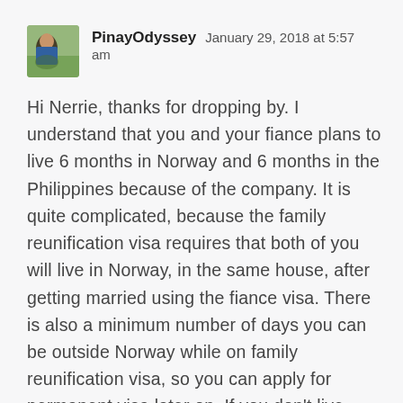[Figure (photo): Avatar photo of user PinayOdyssey showing a person outdoors with greenery in background]
PinayOdyssey   January 29, 2018 at 5:57 am
Hi Nerrie, thanks for dropping by. I understand that you and your fiance plans to live 6 months in Norway and 6 months in the Philippines because of the company. It is quite complicated, because the family reunification visa requires that both of you will live in Norway, in the same house, after getting married using the fiance visa. There is also a minimum number of days you can be outside Norway while on family reunification visa, so you can apply for permanent visa later on, If you don't live together in Norway after the marriage, then, I do not suppose you will be granted a family